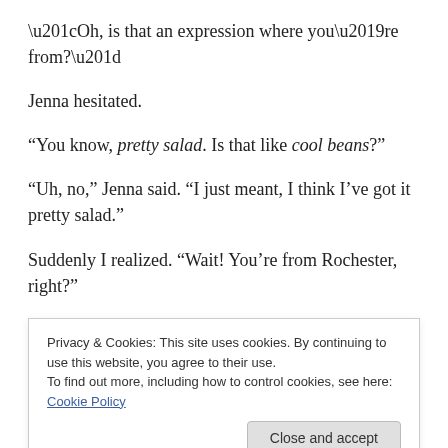“Oh, is that an expression where you’re from?”
Jenna hesitated.
“You know, pretty salad. Is that like cool beans?”
“Uh, no,” Jenna said. “I just meant, I think I’ve got it pretty salad.”
Suddenly I realized. “Wait! You’re from Rochester, right?”
“Syracuse.”
(truncated line partially visible)
Privacy & Cookies: This site uses cookies. By continuing to use this website, you agree to their use.
To find out more, including how to control cookies, see here: Cookie Policy
None. So I gave her the relevant highlight: the vowel in